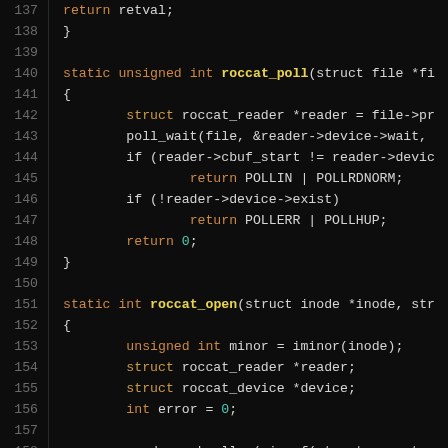[Figure (screenshot): Source code viewer showing C code lines 137-166, dark background with syntax highlighting. Code shows roccat_poll and roccat_open functions from a Linux kernel driver.]